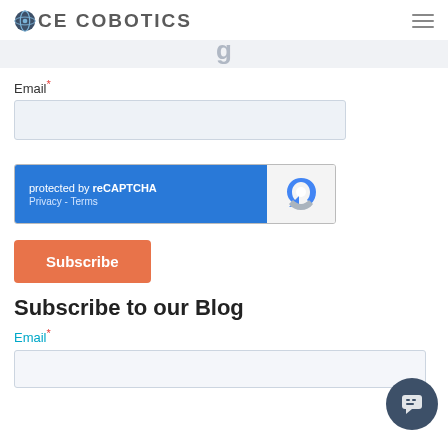[Figure (logo): ICE Cobotics logo with dark globe icon and text ICE COBOTICS in gray]
[Figure (screenshot): Hamburger menu icon (three horizontal lines) in top right]
Email*
[Figure (screenshot): Email input field with light blue/gray background]
[Figure (screenshot): reCAPTCHA widget: blue left panel with 'protected by reCAPTCHA Privacy - Terms', gray right panel with reCAPTCHA logo]
Subscribe
Hello, welcome to ICE Cobotics!
Subscribe to our Blog
Email*